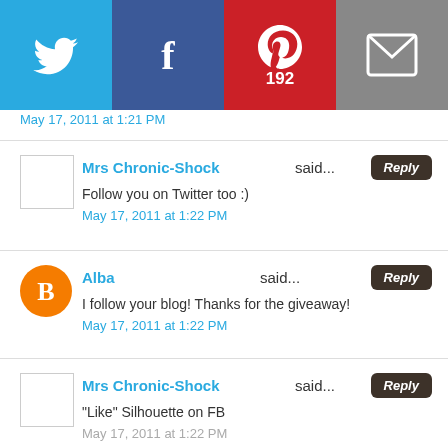[Figure (infographic): Social sharing bar with Twitter, Facebook, Pinterest (192), and Email buttons]
May 17, 2011 at 1:21 PM
Mrs Chronic-Shock said...
Follow you on Twitter too :)
May 17, 2011 at 1:22 PM
Alba said...
I follow your blog! Thanks for the giveaway!
May 17, 2011 at 1:22 PM
Mrs Chronic-Shock said...
"Like" Silhouette on FB
May 17, 2011 at 1:22 PM